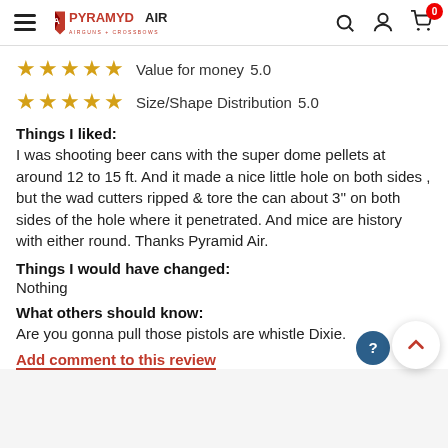Pyramyd Air - Airguns + Crossbows
Value for money  5.0
Size/Shape Distribution  5.0
Things I liked:
I was shooting beer cans with the super dome pellets at around 12 to 15 ft. And it made a nice little hole on both sides , but the wad cutters ripped & tore the can about 3" on both sides of the hole where it penetrated. And mice are history with either round. Thanks Pyramid Air.
Things I would have changed:
Nothing
What others should know:
Are you gonna pull those pistols are whistle Dixie.
Add comment to this review